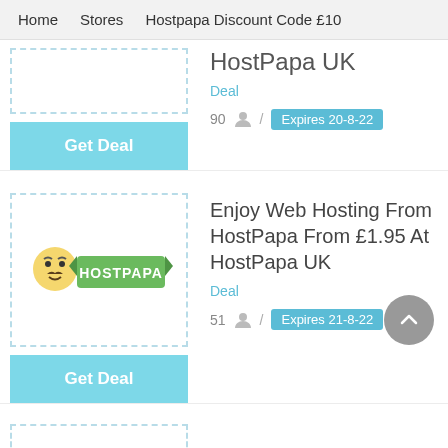Home   Stores   Hostpapa Discount Code £10
HostPapa UK
Deal
90  /  Expires 20-8-22
[Figure (logo): HostPapa logo]
Enjoy Web Hosting From HostPapa From £1.95 At HostPapa UK
Deal
51  /  Expires 21-8-22